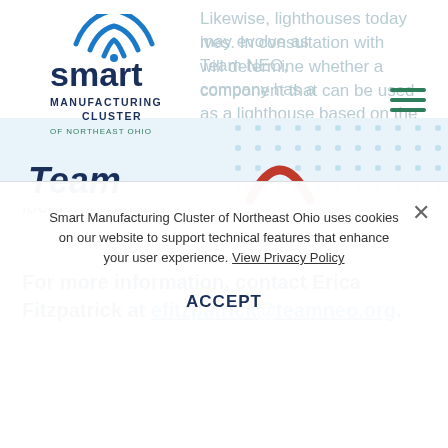[Figure (logo): Smart Manufacturing Cluster of Northeast Ohio logo with wifi arc icon]
Likewise, lighthouses today may evolve as [lives]. In consultation with Team NEO, [will] determine whether a company has a [component] that can be used as a lighthouse based on the company’s geography, technology application, and mainly its applicability to local companies.
For more information, contact Erica Fitzpatrick at efitzpatrick@teamneo.org.
Smart Manufacturing Cluster of Northeast Ohio uses cookies on our website to support technical features that enhance your user experience. View Privacy Policy
ACCEPT